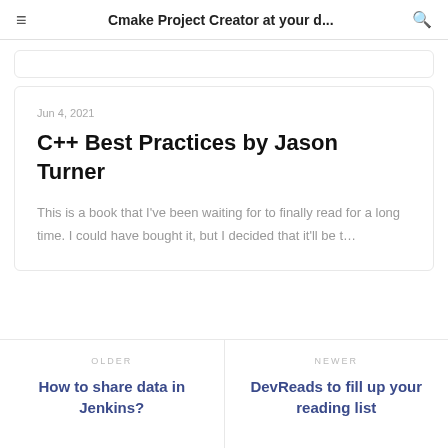Cmake Project Creator at your d...
C++ Best Practices by Jason Turner
Jun 4, 2021
This is a book that I've been waiting for to finally read for a long time. I could have bought it, but I decided that it'll be t…
OLDER
How to share data in Jenkins?
NEWER
DevReads to fill up your reading list